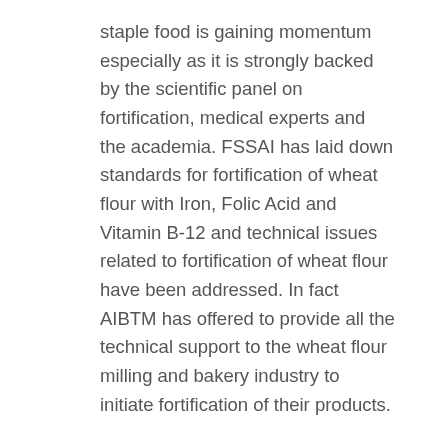staple food is gaining momentum especially as it is strongly backed by the scientific panel on fortification, medical experts and the academia. FSSAI has laid down standards for fortification of wheat flour with Iron, Folic Acid and Vitamin B-12 and technical issues related to fortification of wheat flour have been addressed. In fact AIBTM has offered to provide all the technical support to the wheat flour milling and bakery industry to initiate fortification of their products.
The government is also fully participating on the fortification endeavours as on 22nd December, 2016 the Department of Food and Public Distribution, Government of India issued guidelines recommending the State/UTs to distribute fortified wheat flour, as per FSSAI standards, through the Public Distribution System. West Bengal has been supplying fortified wheat flour through PDS since